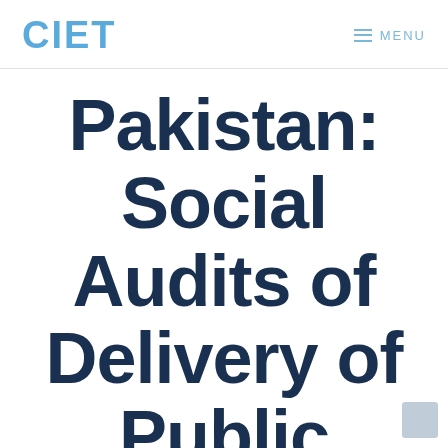CIET    ≡ MENU
Pakistan: Social Audits of Delivery of Public Services